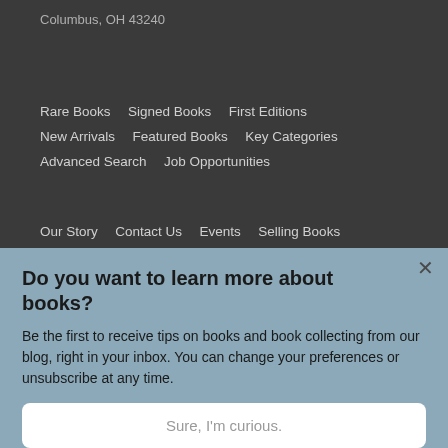Columbus, OH 43240
Rare Books   Signed Books   First Editions
New Arrivals   Featured Books   Key Categories
Advanced Search   Job Opportunities
Our Story   Contact Us   Events   Selling Books
Autographs & Signatures   Collector's Resources
Glossary
Our Blog   Shopping Cart   My Account
Do you want to learn more about books?
Be the first to receive tips on books and book collecting from our blog, right in your inbox. You can change your preferences or unsubscribe at any time.
Sure, I'm curious.